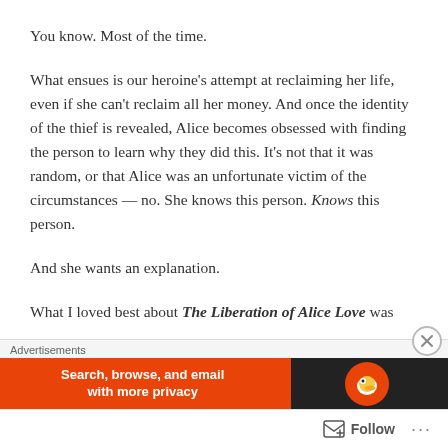You know. Most of the time.
What ensues is our heroine's attempt at reclaiming her life, even if she can't reclaim all her money. And once the identity of the thief is revealed, Alice becomes obsessed with finding the person to learn why they did this. It's not that it was random, or that Alice was an unfortunate victim of the circumstances — no. She knows this person. Knows this person.
And she wants an explanation.
What I loved best about The Liberation of Alice Love was
[Figure (other): Advertisement banner: DuckDuckGo ad with text 'Search, browse, and email with more privacy' on orange background with duck logo on dark background. Labeled 'Advertisements'.]
[Figure (other): Follow button bar at bottom with follow icon and ellipsis menu]